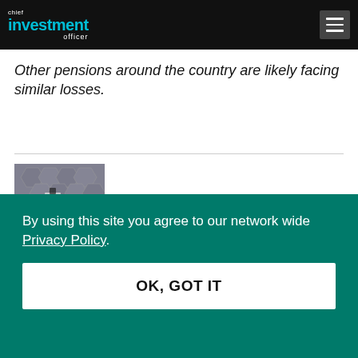chief investment officer
Other pensions around the country are likely facing similar losses.
[Figure (photo): Conference or event scene with a speaker at a podium, viewed from above, with decorative tiled floor.]
Newsmakers   February 24, 2022
By using this site you agree to our network wide Privacy Policy.
OK, GOT IT